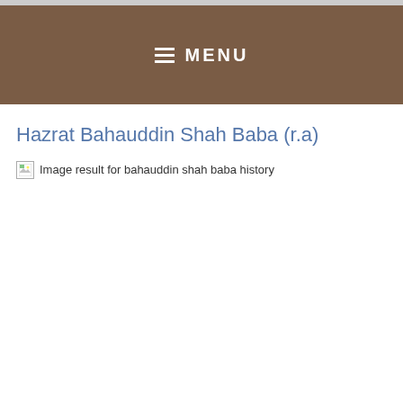☰ MENU
Hazrat Bahauddin Shah Baba (r.a)
[Figure (photo): Broken image placeholder with alt text: Image result for bahauddin shah baba history]
[Figure (screenshot): Embedded video player showing error: 'Video unavailable - This video is unavailable']